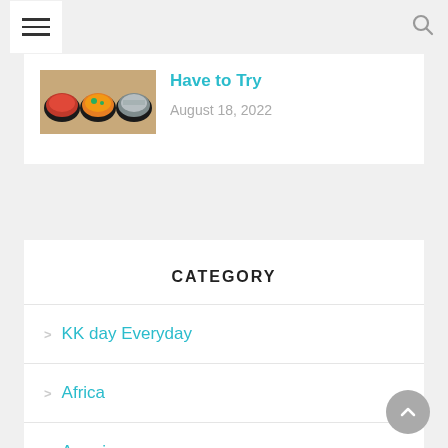Navigation bar with hamburger menu and search icon
[Figure (screenshot): Food image showing Indian dishes including curry bowls]
Have to Try
August 18, 2022
CATEGORY
KK day Everyday
Africa
Americas